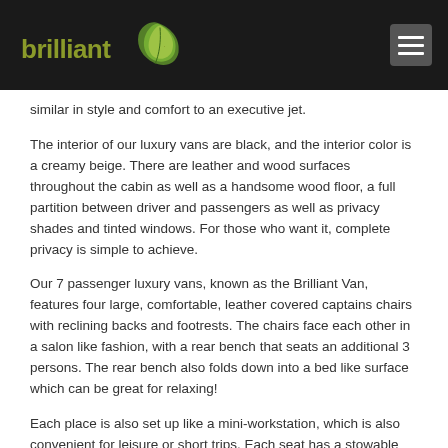[Figure (logo): Brilliant Transportation logo with green feather/leaf graphic and 'brilliant' text in olive/green color on dark background]
similar in style and comfort to an executive jet.
The interior of our luxury vans are black, and the interior color is a creamy beige. There are leather and wood surfaces throughout the cabin as well as a handsome wood floor, a full partition between driver and passengers as well as privacy shades and tinted windows. For those who want it, complete privacy is simple to achieve.
Our 7 passenger luxury vans, known as the Brilliant Van, features four large, comfortable, leather covered captains chairs with reclining backs and footrests. The chairs face each other in a salon like fashion, with a rear bench that seats an additional 3 persons. The rear bench also folds down into a bed like surface which can be great for relaxing!
Each place is also set up like a mini-workstation, which is also convenient for leisure or short trips. Each seat has a stowable desk which you can use to set your laptop on or